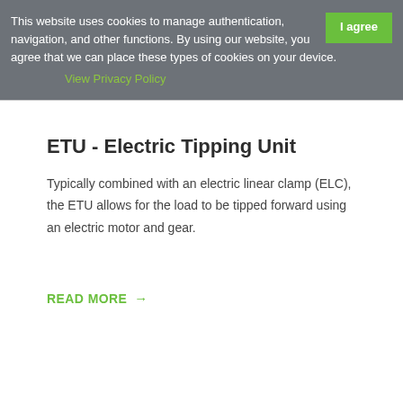This website uses cookies to manage authentication, navigation, and other functions. By using our website, you agree that we can place these types of cookies on your device. View Privacy Policy
ETU - Electric Tipping Unit
Typically combined with an electric linear clamp (ELC), the ETU allows for the load to be tipped forward using an electric motor and gear.
READ MORE →